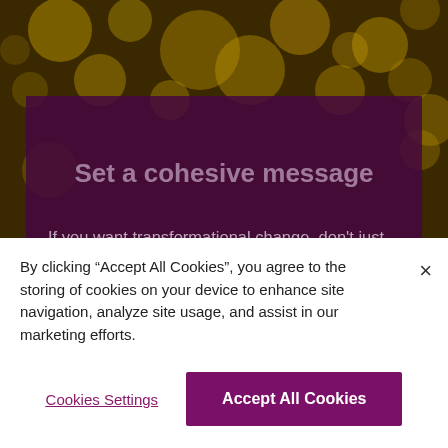[Figure (photo): Blurred bokeh background with golden/yellow circular light orbs on a dark brown/olive background, typical of a festive or decorative photograph with shallow depth of field.]
Set a cohesive message
If you want transformational change, don't just train on it -- support it across the board with C-suite messages, periodic business updates, policy
By clicking “Accept All Cookies”, you agree to the storing of cookies on your device to enhance site navigation, analyze site usage, and assist in our marketing efforts.
×
Cookies Settings
Accept All Cookies